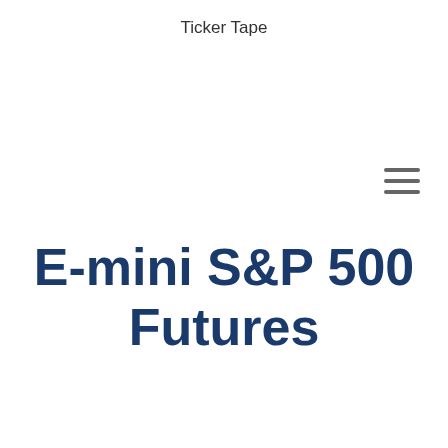Ticker Tape
E-mini S&P 500 Futures